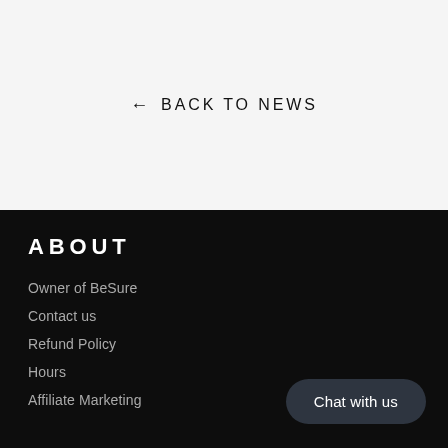← BACK TO NEWS
ABOUT
Owner of BeSure
Contact us
Refund Policy
Hours
Affiliate Marketing
Chat with us